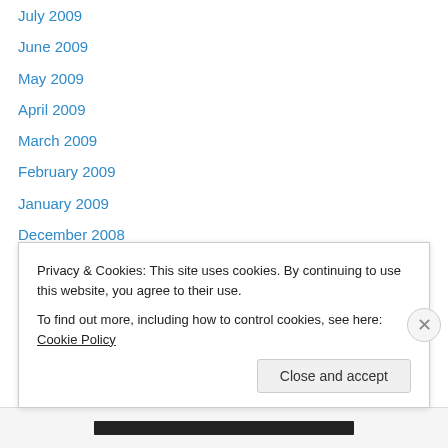July 2009
June 2009
May 2009
April 2009
March 2009
February 2009
January 2009
December 2008
November 2008
October 2008
August 2008
July 2008
June 2008
May 2008
Privacy & Cookies: This site uses cookies. By continuing to use this website, you agree to their use. To find out more, including how to control cookies, see here: Cookie Policy